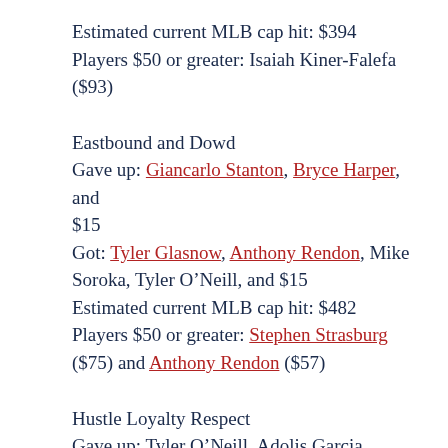Estimated current MLB cap hit: $394
Players $50 or greater: Isaiah Kiner-Falefa ($93)
Eastbound and Dowd
Gave up: Giancarlo Stanton, Bryce Harper, and $15
Got: Tyler Glasnow, Anthony Rendon, Mike Soroka, Tyler O’Neill, and $15
Estimated current MLB cap hit: $482
Players $50 or greater: Stephen Strasburg ($75) and Anthony Rendon ($57)
Hustle Loyalty Respect
Gave up: Tyler O’Neill, Adolis Garcia, Oswald Peraza (p), Triston Casas (p), Marco Luciano